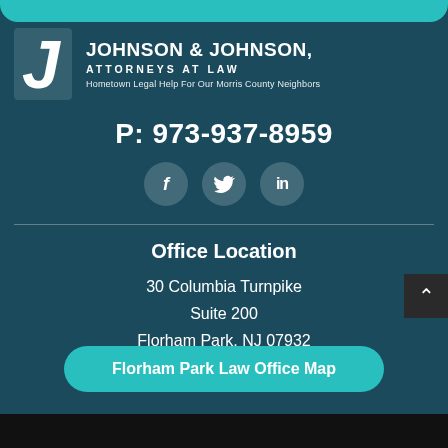JOHNSON & JOHNSON, ATTORNEYS AT LAW
Hometown Legal Help For Our Morris County Neighbors
P: 973-937-8959
[Figure (other): Social media icons: Facebook, Twitter, LinkedIn circles]
Office Location
30 Columbia Turnpike
Suite 200
Florham Park, NJ 07932
Florham Park Law Office Map